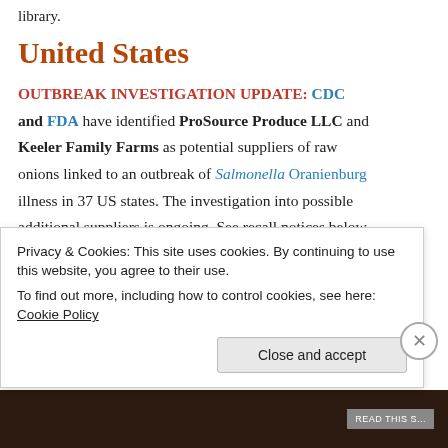library.
United States
OUTBREAK INVESTIGATION UPDATE: CDC and FDA have identified ProSource Produce LLC and Keeler Family Farms as potential suppliers of raw onions linked to an outbreak of Salmonella Oranienburg illness in 37 US states. The investigation into possible additional suppliers is ongoing. See recall notices below for additional information.
Advertisements
Privacy & Cookies: This site uses cookies. By continuing to use this website, you agree to their use.
To find out more, including how to control cookies, see here: Cookie Policy
Close and accept